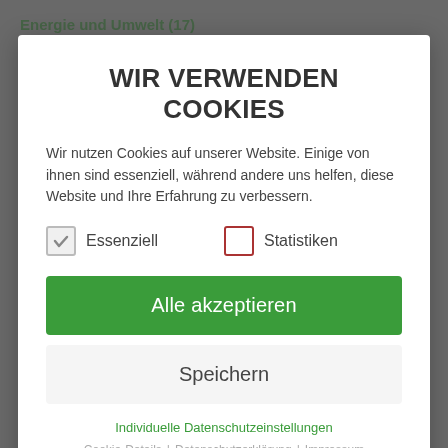Energie und Umwelt (17)
WIR VERWENDEN COOKIES
Wir nutzen Cookies auf unserer Website. Einige von ihnen sind essenziell, während andere uns helfen, diese Website und Ihre Erfahrung zu verbessern.
Essenziell
Statistiken
Alle akzeptieren
Speichern
Individuelle Datenschutzeinstellungen
Cookie-Details | Datenschutzerklärung | Impressum
16. August 2022